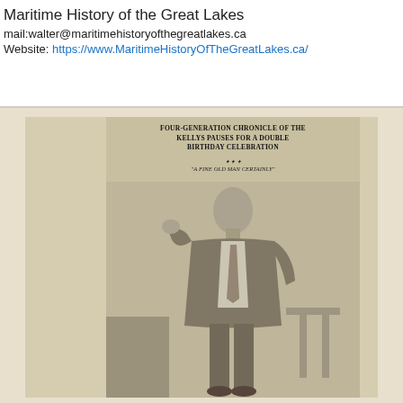Maritime History of the Great Lakes
mail:walter@maritimehistoryofthegreatlakes.ca
Website: https://www.MaritimeHistoryOfTheGreatLakes.ca/
[Figure (photo): Newspaper clipping with headline 'FOUR-GENERATION CHRONICLE OF THE KELLYS PAUSES FOR A DOUBLE BIRTHDAY CELEBRATION' and a black-and-white photograph of an elderly man in a suit standing and holding something, with a caption 'A FINE OLD MAN CERTAINLY']